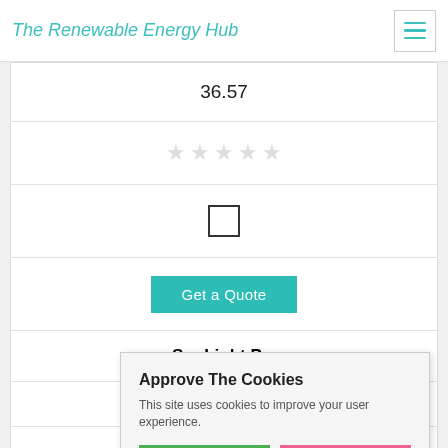The Renewable Energy Hub
36.57
[Figure (other): Five empty star rating icons (all light gray, unselected)]
[Figure (other): Unchecked checkbox (empty square)]
Get a Quote
SonLight P...
7100 Dixie Highwa...
37.09
Approve The Cookies
This site uses cookies to improve your user experience.
Accept  Decline
Cookie policy